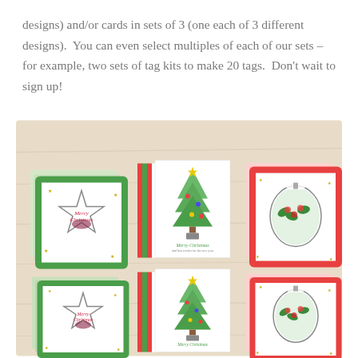designs) and/or cards in sets of 3 (one each of 3 different designs).  You can even select multiples of each of our sets – for example, two sets of tag kits to make 20 tags.  Don't wait to sign up!
[Figure (photo): Photo of Christmas card sets laid out on a light wood surface. Six groups of handmade cards featuring three designs: star-shaped shaker cards with 'Merry Christmas' text and green/white striped borders, Christmas tree cards with ornaments on red/green striped paper, and ornament shaker cards with red/green striped borders. Cards are arranged in two rows of three groups each.]